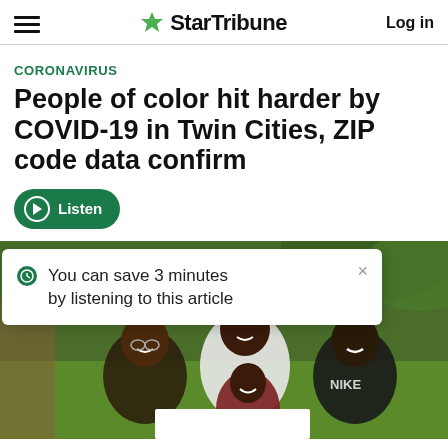StarTribune  Log in
CORONAVIRUS
People of color hit harder by COVID-19 in Twin Cities, ZIP code data confirm
Listen
[Figure (screenshot): A tooltip overlay on a family photo reads: 'You can save 3 minutes by listening to this article' with a close X button. Behind it is a photo of a Black family — a man with glasses, a teenage boy in a Nike shirt, a younger boy in a maroon shirt, and another adult — sitting outdoors on green grass.]